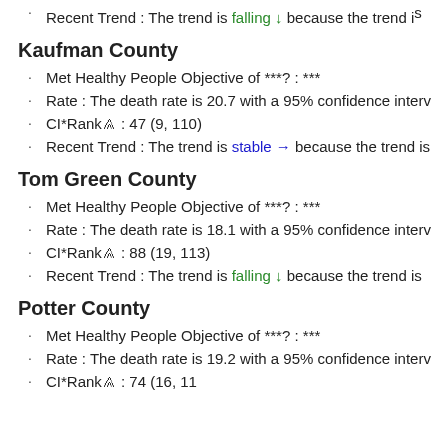Recent Trend : The trend is falling ↓ because the trend is
Kaufman County
Met Healthy People Objective of ***? : ***
Rate : The death rate is 20.7 with a 95% confidence interv
CI*Rank⋔ : 47 (9, 110)
Recent Trend : The trend is stable → because the trend is
Tom Green County
Met Healthy People Objective of ***? : ***
Rate : The death rate is 18.1 with a 95% confidence interv
CI*Rank⋔ : 88 (19, 113)
Recent Trend : The trend is falling ↓ because the trend is
Potter County
Met Healthy People Objective of ***? : ***
Rate : The death rate is 19.2 with a 95% confidence interv
CI*Rank⋔ : 74 (16, 11